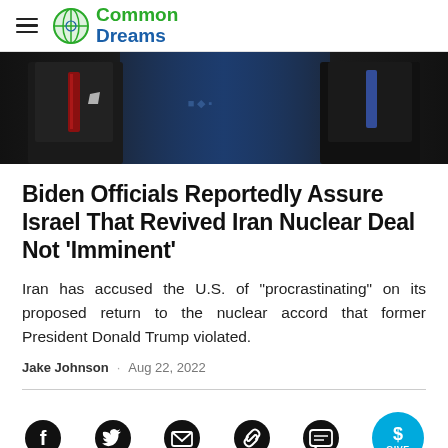Common Dreams
[Figure (photo): Dark-suited figures (two men in suits with ties) against a blue background, cropped to show torsos only]
Biden Officials Reportedly Assure Israel That Revived Iran Nuclear Deal Not 'Imminent'
Iran has accused the U.S. of "procrastinating" on its proposed return to the nuclear accord that former President Donald Trump violated.
Jake Johnson · Aug 22, 2022